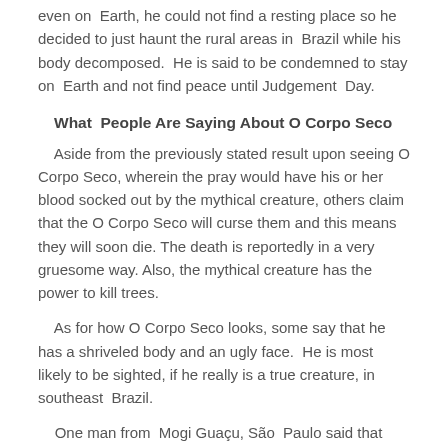even on  Earth, he could not find a resting place so he decided to just haunt the rural areas in  Brazil while his body decomposed.  He is said to be condemned to stay on  Earth and not find peace until Judgement  Day.
What  People Are Saying About O Corpo Seco
Aside from the previously stated result upon seeing O Corpo Seco, wherein the pray would have his or her blood socked out by the mythical creature, others claim that the O Corpo Seco will curse them and this means they will soon die. The death is reportedly in a very gruesome way. Also, the mythical creature has the power to kill trees.
As for how O Corpo Seco looks, some say that he has a shriveled body and an ugly face.  He is most likely to be sighted, if he really is a true creature, in southeast  Brazil.
One man from  Mogi Guaçu, São  Paulo said that she was in a cemetery one night.  He then saw the O Corpo Seco in the area.  Nothing bad happened to the woman who claims she saw O Corpo Seco.